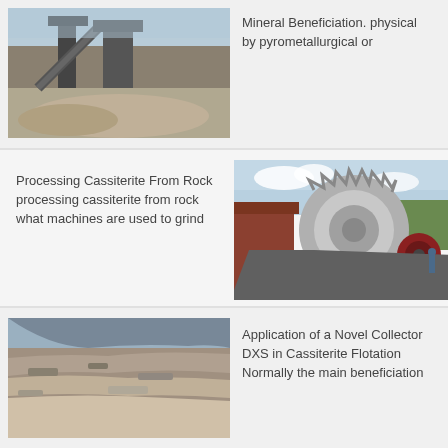[Figure (photo): Industrial mineral processing facility with conveyor belts and large crushing/processing machinery, piles of crushed rock in foreground]
Mineral Beneficiation. physical by pyrometallurgical or
Processing Cassiterite From Rock processing cassiterite from rock what machines are used to grind
[Figure (photo): Large industrial drum/ball mill machinery with red/brown and grey components, outdoor setting with blue sky]
[Figure (photo): Open pit mining or quarry site showing rocky terrain and excavated hillside]
Application of a Novel Collector DXS in Cassiterite Flotation Normally the main beneficiation